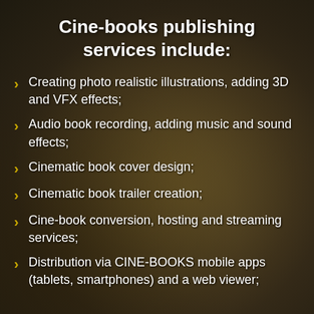Cine-books publishing services include:
Creating photo realistic illustrations, adding 3D and VFX effects;
Audio book recording, adding music and sound effects;
Cinematic book cover design;
Cinematic book trailer creation;
Cine-book conversion, hosting and streaming services;
Distribution via CINE-BOOKS mobile apps (tablets, smartphones) and a web viewer;